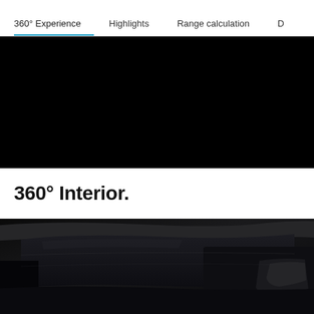360° Experience    Highlights    Range calculation    D
[Figure (photo): Dark/black panoramic image showing the top portion of a car interior, viewed from inside looking outward, nearly fully black]
360° Interior.
[Figure (photo): Close-up photo of a car interior dashboard and instrument cluster area in dark gray/black tones, showing curved surfaces and trim details]